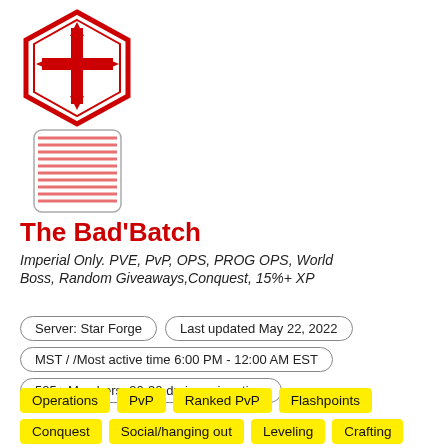[Figure (logo): SWTOR Sith Empire guild logo: red hexagonal emblem with Sith symbol above a rectangular card with horizontal red lines]
The Bad'Batch
Imperial Only. PVE, PvP, OPS, PROG OPS, World Boss, Random Giveaways,Conquest, 15%+ XP
Server: Star Forge | Last updated May 22, 2022
MST / /Most active time 6:00 PM - 12:00 AM EST
525+ Members, 20-30 during prime time
Operations
PvP
Ranked PvP
Flashpoints
Conquest
Social/hanging out
Leveling
Crafting
Datacron Hunting
World Bosses